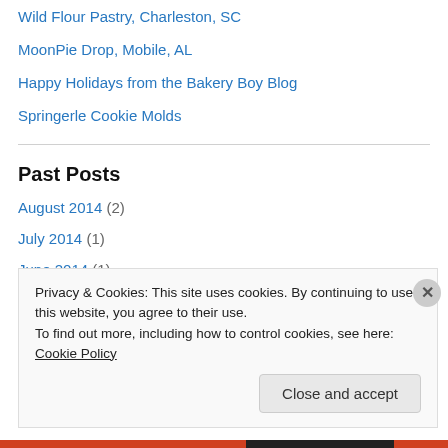Wild Flour Pastry, Charleston, SC
MoonPie Drop, Mobile, AL
Happy Holidays from the Bakery Boy Blog
Springerle Cookie Molds
Past Posts
August 2014 (2)
July 2014 (1)
June 2014 (1)
May 2014 (2)
April 2012 (1)
December 2011 (9)
Privacy & Cookies: This site uses cookies. By continuing to use this website, you agree to their use. To find out more, including how to control cookies, see here: Cookie Policy
Close and accept